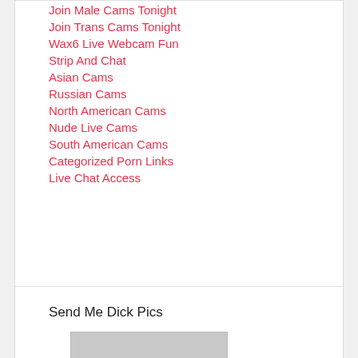Join Male Cams Tonight
Join Trans Cams Tonight
Wax6 Live Webcam Fun
Strip And Chat
Asian Cams
Russian Cams
North American Cams
Nude Live Cams
South American Cams
Categorized Porn Links
Live Chat Access
Send Me Dick Pics
[Figure (photo): Partial photo of a person, cropped at bottom of page]